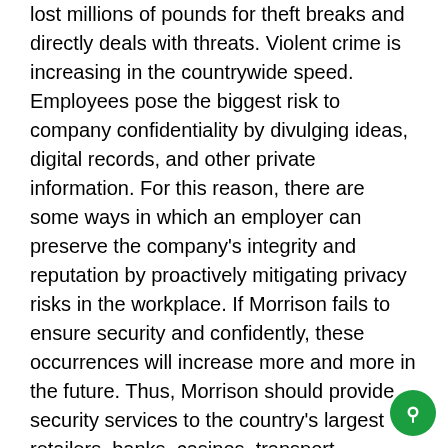lost millions of pounds for theft breaks and directly deals with threats. Violent crime is increasing in the countrywide speed. Employees pose the biggest risk to company confidentiality by divulging ideas, digital records, and other private information. For this reason, there are some ways in which an employer can preserve the company's integrity and reputation by proactively mitigating privacy risks in the workplace. If Morrison fails to ensure security and confidently, these occurrences will increase more and more in the future. Thus, Morrison should provide security services to the country's largest retailers, banks, casinos, transport services, educational institutions, and industrial establishments. It should develop and implement the right security program for its specific requirements to hold special challenges to prevent public safety, employee safety, and losses (Morrison, 2017).